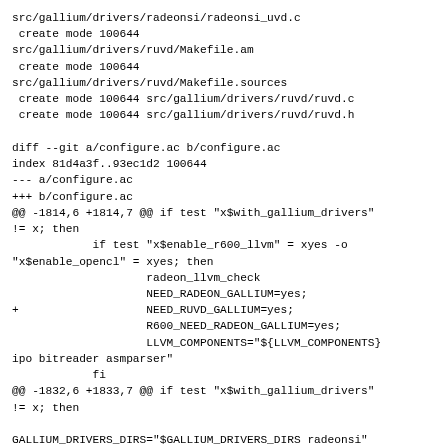src/gallium/drivers/radeonsi/radeonsi_uvd.c
 create mode 100644
src/gallium/drivers/ruvd/Makefile.am
 create mode 100644
src/gallium/drivers/ruvd/Makefile.sources
 create mode 100644 src/gallium/drivers/ruvd/ruvd.c
 create mode 100644 src/gallium/drivers/ruvd/ruvd.h

diff --git a/configure.ac b/configure.ac
index 81d4a3f..93ec1d2 100644
--- a/configure.ac
+++ b/configure.ac
@@ -1814,6 +1814,7 @@ if test "x$with_gallium_drivers"
!= x; then
            if test "x$enable_r600_llvm" = xyes -o
"x$enable_opencl" = xyes; then
                    radeon_llvm_check
                    NEED_RADEON_GALLIUM=yes;
+                   NEED_RUVD_GALLIUM=yes;
                    R600_NEED_RADEON_GALLIUM=yes;
                    LLVM_COMPONENTS="${LLVM_COMPONENTS}
ipo bitreader asmparser"
            fi
@@ -1832,6 +1833,7 @@ if test "x$with_gallium_drivers"
!= x; then

GALLIUM_DRIVERS_DIRS="$GALLIUM_DRIVERS_DIRS radeonsi"
            radeon_llvm_check
            NEED_RADEON_GALLIUM=yes;
+           NEED_RUVD_GALLIUM=yes;